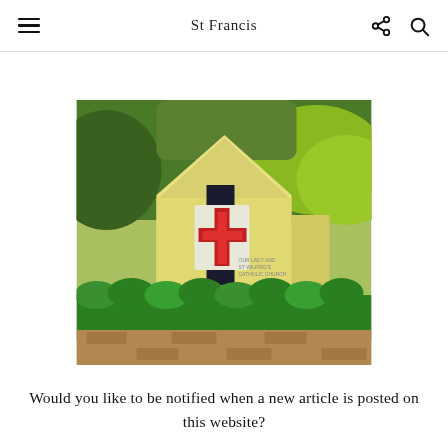St Francis
[Figure (photo): Photograph of a yellow church building with a red cross stained glass window feature, surrounded by green hedgerow and trees. Text on the building reads 'OUR LADY AND ST WILFRID'S CATHOLIC CHURCH'.]
Would you like to be notified when a new article is posted on this website?